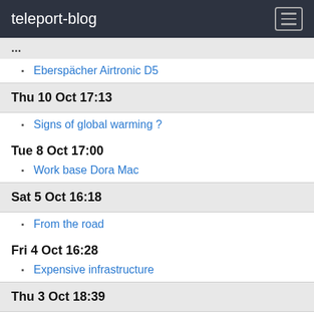teleport-blog
(partial date header cut off)
Eberspächer Airtronic D5
Thu 10 Oct 17:13
Signs of global warming ?
Tue 8 Oct 17:00
Work base Dora Mac
Sat 5 Oct 16:18
From the road
Fri 4 Oct 16:28
Expensive infrastructure
Thu 3 Oct 18:39
A third way to travel
Sep 2019
Sat 28 Sep 17:22
Equipment to avoid
(partial date row cut off)